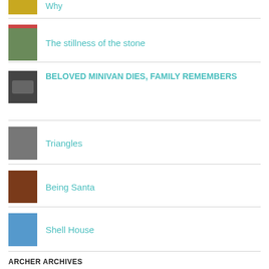Why
The stillness of the stone
BELOVED MINIVAN DIES, FAMILY REMEMBERS
Triangles
Being Santa
Shell House
ARCHER ARCHIVES